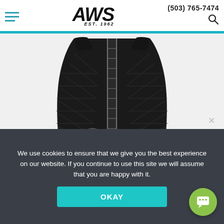AWS EST. 1962 | (503) 765-7474
[Figure (photo): Black quilted impact vest with silver zipper and eagle logo badge, shown from the front on white background]
We use cookies to ensure that we give you the best experience on our website. If you continue to use this site we will assume that you are happy with it.
OKAY